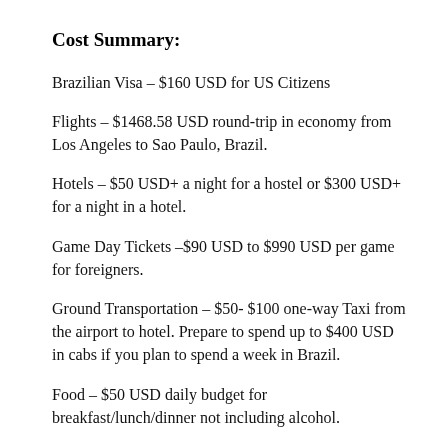Cost Summary:
Brazilian Visa – $160 USD for US Citizens
Flights – $1468.58 USD round-trip in economy from Los Angeles to Sao Paulo, Brazil.
Hotels – $50 USD+ a night for a hostel or $300 USD+ for a night in a hotel.
Game Day Tickets –$90 USD to $990 USD per game for foreigners.
Ground Transportation – $50- $100 one-way Taxi from the airport to hotel. Prepare to spend up to $400 USD in cabs if you plan to spend a week in Brazil.
Food – $50 USD daily budget for breakfast/lunch/dinner not including alcohol.